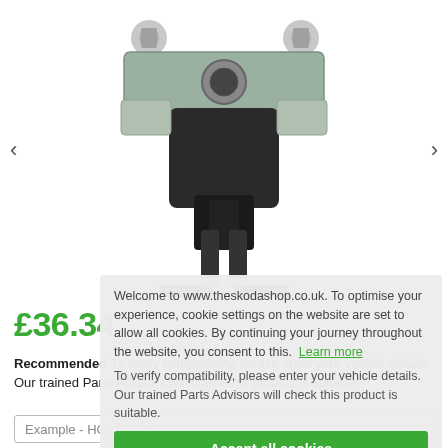[Figure (photo): Close-up photo of a car boot/trunk latch mechanism — black plastic body with metal mounting hardware and studs, shown from below]
£36.34
Recommended To verify compatibility, please enter your vehicle details. Our trained Parts Advisors will check this product is suitable.
Welcome to www.theskodashop.co.uk. To optimise your experience, cookie settings on the website are set to allow all cookies. By continuing your journey throughout the website, you consent to this. Learn more
To verify compatibility, please enter your vehicle details. Our trained Parts Advisors will check this product is suitable.
Accept all cookies
Example - HG17 TNX